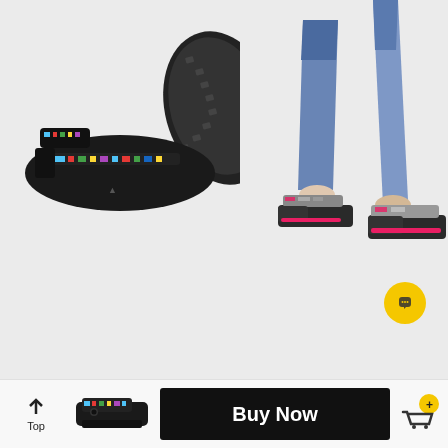[Figure (photo): Product photo of black KEEN sandals with colorful multicolor straps, shown from side and sole view on white/light gray background]
[Figure (photo): Model wearing gray/pink KEEN Newport sandals with blue jeans, walking pose showing feet and lower legs]
[Figure (illustration): Yellow circular chat/message button with speech bubble icon]
[Figure (photo): Small thumbnail of black KEEN sandal in bottom navigation bar]
Buy Now
Top